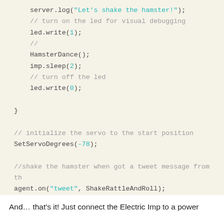[Figure (screenshot): Code block showing JavaScript/Squirrel code snippet with server.log, led.write, HamsterDance, imp.sleep, SetServoDegrees, and agent.on function calls with comments.]
And... that's it! Just connect the Electric Imp to a power